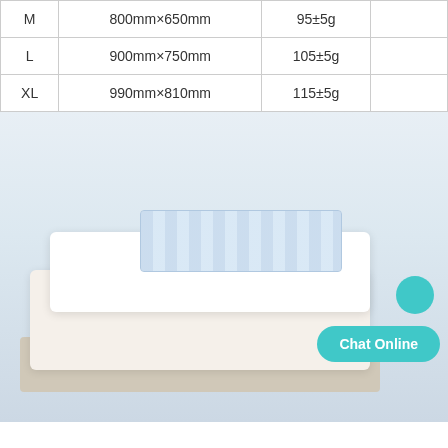| M | 800mm×650mm | 95±5g |  |
| L | 900mm×750mm | 105±5g |  |
| XL | 990mm×810mm | 115±5g |  |
[Figure (photo): Folded white blanket or comforter with blue-striped packaging label, placed on a bed or shelf. A teal 'Chat Online' button overlay is visible in the bottom-right corner.]